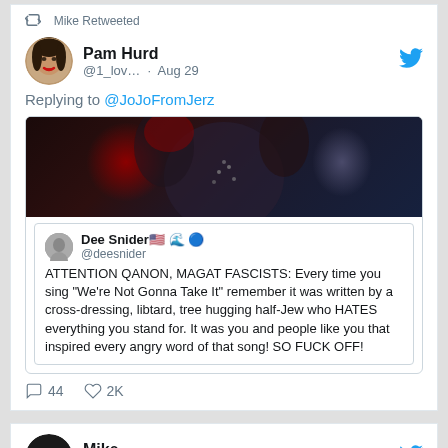[Figure (screenshot): Twitter/X retweet notification: Mike Retweeted]
Mike Retweeted
Pam Hurd @1_lov… · Aug 29
Replying to @JoJoFromJerz
[Figure (screenshot): Embedded tweet image showing Dee Snider tweet text: ATTENTION QANON, MAGAT FASCISTS: Every time you sing "We're Not Gonna Take It" remember it was written by a cross-dressing, libtard, tree hugging half-Jew who HATES everything you stand for. It was you and people like you that inspired every angry word of that song! SO FUCK OFF!]
44  2K
Mike @Miket… · Aug 29
Box Office Breakdown! The Invitation Tops Lackluster Weekend! Ugh! wp.me/p17Xso-